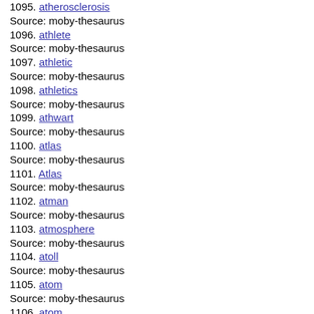1095. atherosclerosis
Source: moby-thesaurus
1096. athlete
Source: moby-thesaurus
1097. athletic
Source: moby-thesaurus
1098. athletics
Source: moby-thesaurus
1099. athwart
Source: moby-thesaurus
1100. atlas
Source: moby-thesaurus
1101. Atlas
Source: moby-thesaurus
1102. atman
Source: moby-thesaurus
1103. atmosphere
Source: moby-thesaurus
1104. atoll
Source: moby-thesaurus
1105. atom
Source: moby-thesaurus
1106. atom
Source: moby-thesaurus
1107. atomic
Source: moby-thesaurus
1108. atomism
Source: moby-thesaurus
1109. atomization
Source: moby-thesaurus
1110. atomize
Source: moby-thesaurus
1111. atomizer